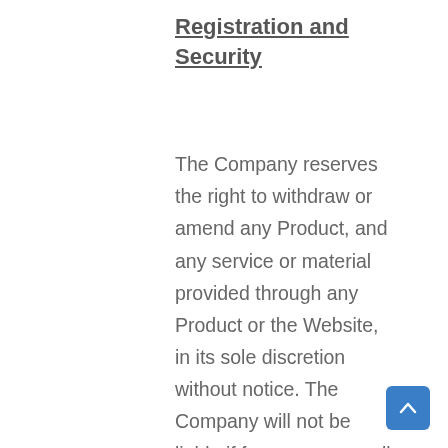Registration and Security
The Company reserves the right to withdraw or amend any Product, and any service or material provided through any Product or the Website, in its sole discretion without notice. The Company will not be liable if for any reason all or any part of any Product